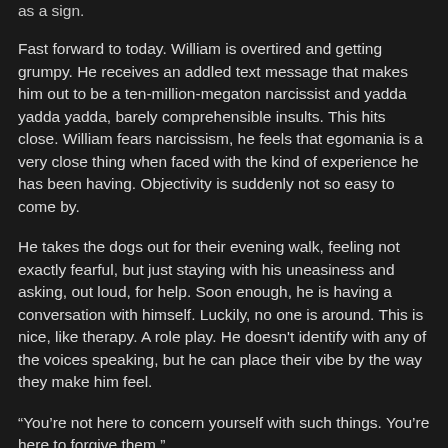as a sign.
Fast forward to today. William is overtired and getting grumpy. He receives an addled text message that makes him out to be a ten-million-megaton narcissist and yadda yadda yadda, barely comprehensible insults. This hits close. William fears narcissism, he feels that egomania is a very close thing when faced with the kind of experience he has been having. Objectivity is suddenly not so easy to come by.
He takes the dogs out for their evening walk, feeling not exactly fearful, but just staying with his uneasiness and asking, out loud, for help. Soon enough, he is having a conversation with himself. Luckily, no one is around. This is nice, like therapy. A role play. He doesn't identify with any of the voices speaking, but he can place their vibe by the way they make him feel.
“You’re not here to concern yourself with such things. You’re here to forgive them.”
“If you take personal credit for the good vibes you carry and what they achieve through you, then you will take personal cr…